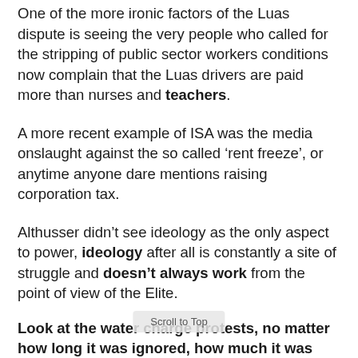One of the more ironic factors of the Luas dispute is seeing the very people who called for the stripping of public sector workers conditions now complain that the Luas drivers are paid more than nurses and teachers.
A more recent example of ISA was the media onslaught against the so called ‘rent freeze’, or anytime anyone dare mentions raising corporation tax.
Althusser didn’t see ideology as the only aspect to power, ideology after all is constantly a site of struggle and doesn’t always work from the point of view of the Elite.
Look at the water charge protests, no matter how long it was ignored, how much it was demonized